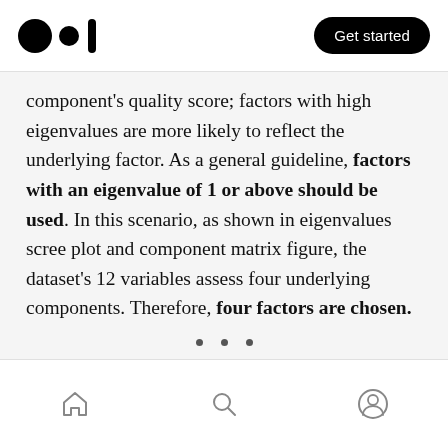Medium logo | Get started
component's quality score; factors with high eigenvalues are more likely to reflect the underlying factor. As a general guideline, factors with an eigenvalue of 1 or above should be used. In this scenario, as shown in eigenvalues scree plot and component matrix figure, the dataset's 12 variables assess four underlying components. Therefore, four factors are chosen.
Home | Search | Profile